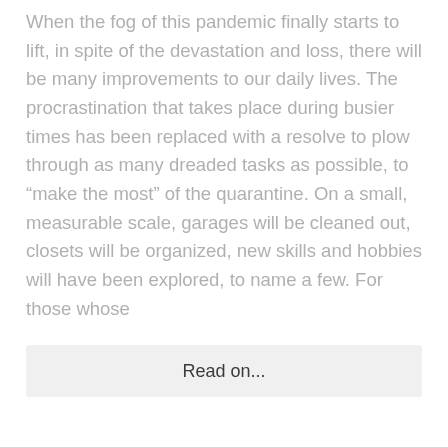When the fog of this pandemic finally starts to lift, in spite of the devastation and loss, there will be many improvements to our daily lives. The procrastination that takes place during busier times has been replaced with a resolve to plow through as many dreaded tasks as possible, to “make the most” of the quarantine. On a small, measurable scale, garages will be cleaned out, closets will be organized, new skills and hobbies will have been explored, to name a few. For those whose
Read on...